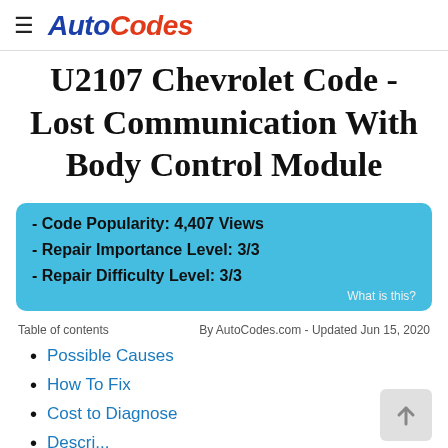AutoCodes
U2107 Chevrolet Code - Lost Communication With Body Control Module
- Code Popularity: 4,407 Views
- Repair Importance Level: 3/3
- Repair Difficulty Level: 3/3
What is this?
Table of contents
By AutoCodes.com - Updated Jun 15, 2020
Possible Causes
How To Fix
Cost to Diagnose
Description